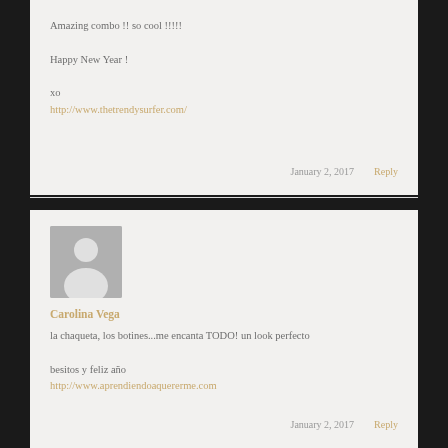Amazing combo !! so cool !!!!!

Happy New Year !

xo
http://www.thetrendysurfer.com/
January 2, 2017    Reply
[Figure (photo): Default avatar placeholder image — grey silhouette of a person on grey background]
Carolina Vega
la chaqueta, los botines...me encanta TODO! un look perfecto

besitos y feliz año
http://www.aprendiendoaquererme.com
January 2, 2017    Reply